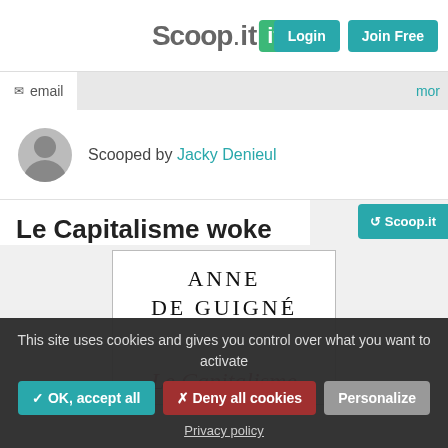Scoop.it! | Login | Join Free
email | mor
Scooped by Jacky Denieul
Le Capitalisme woke
[Figure (illustration): Book cover showing 'ANNE DE GUIGNÉ' in black serif letters and 'Le Capitalisme' in red italic serif text]
This site uses cookies and gives you control over what you want to activate
✓ OK, accept all | ✗ Deny all cookies | Personalize
Privacy policy